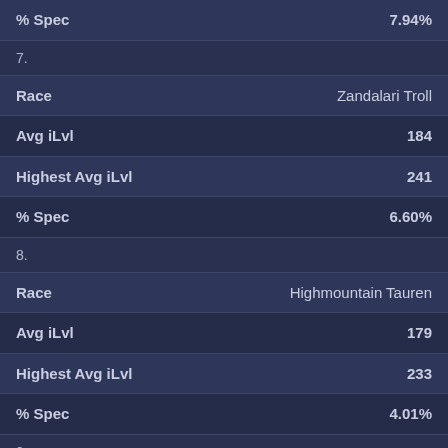| % Spec | 7.94% |
| 7. |
| Race | Zandalari Troll |
| Avg iLvl | 184 |
| Highest Avg iLvl | 241 |
| % Spec | 6.60% |
| 8. |
| Race | Highmountain Tauren |
| Avg iLvl | 179 |
| Highest Avg iLvl | 233 |
| % Spec | 4.01% |
| 9. |